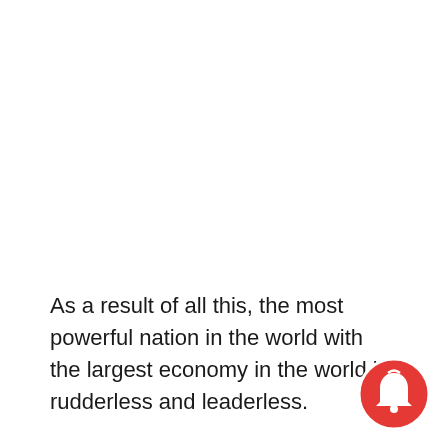As a result of all this, the most powerful nation in the world with the largest economy in the world is rudderless and leaderless.
Where we need thoughtful resolve we have thoughtless name-calling. Where we need
[Figure (illustration): Red circular notification bell icon in the bottom-right corner of the page]